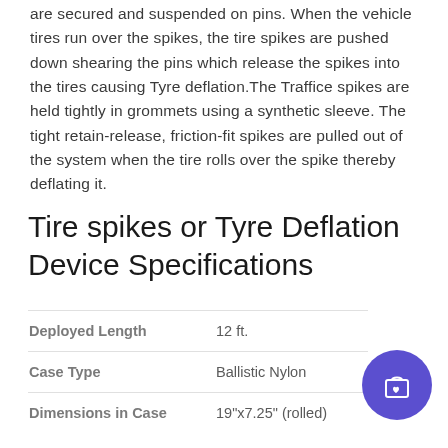are secured and suspended on pins. When the vehicle tires run over the spikes, the tire spikes are pushed down shearing the pins which release the spikes into the tires causing Tyre deflation.The Traffice spikes are held tightly in grommets using a synthetic sleeve. The tight retain-release, friction-fit spikes are pulled out of the system when the tire rolls over the spike thereby deflating it.
Tire spikes or Tyre Deflation Device Specifications
| Specification | Value |
| --- | --- |
| Deployed Length | 12 ft. |
| Case Type | Ballistic Nylon |
| Dimensions in Case | 19"x7.25" (rolled) |